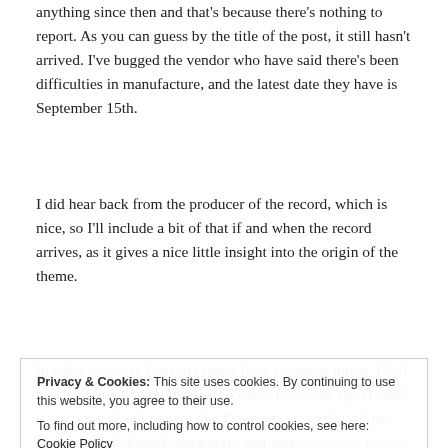anything since then and that's because there's nothing to report. As you can guess by the title of the post, it still hasn't arrived. I've bugged the vendor who have said there's been difficulties in manufacture, and the latest date they have is September 15th.
I did hear back from the producer of the record, which is nice, so I'll include a bit of that if and when the record arrives, as it gives a nice little insight into the origin of the theme.
In other news, as I haven't really been blogging much, I had another operation on my foot a couple of weeks ago (I think it was long after I bought that Desmonds record), and my foot is healed. I just hope it stays that way.
I didn't really do a blog about it... initially I intended to do it all, and then some of the writing
Privacy & Cookies: This site uses cookies. By continuing to use this website, you agree to their use. To find out more, including how to control cookies, see here: Cookie Policy